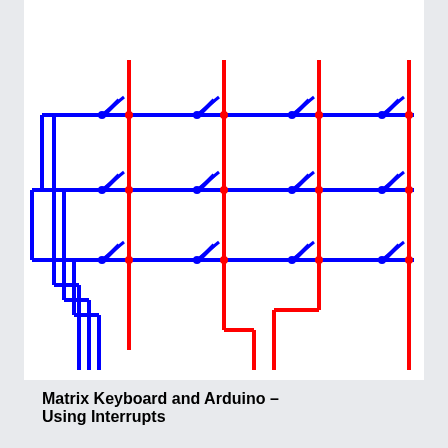[Figure (schematic): Matrix keyboard circuit schematic showing a 3x4 switch matrix with blue horizontal row lines and red vertical column lines. Each intersection has a switch symbol. Blue lines connect rows on the left and bottom, red lines connect columns at top and bottom, forming a typical keyboard matrix wiring diagram used with Arduino interrupts.]
Matrix Keyboard and Arduino – Using Interrupts